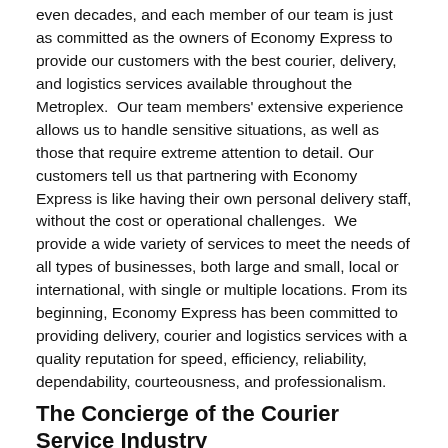even decades, and each member of our team is just as committed as the owners of Economy Express to provide our customers with the best courier, delivery, and logistics services available throughout the Metroplex.  Our team members' extensive experience allows us to handle sensitive situations, as well as those that require extreme attention to detail. Our customers tell us that partnering with Economy Express is like having their own personal delivery staff, without the cost or operational challenges.  We provide a wide variety of services to meet the needs of all types of businesses, both large and small, local or international, with single or multiple locations. From its beginning, Economy Express has been committed to providing delivery, courier and logistics services with a quality reputation for speed, efficiency, reliability, dependability, courteousness, and professionalism.
The Concierge of the Courier Service Industry